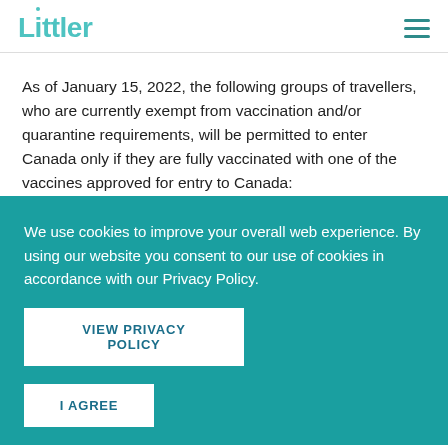Littler
As of January 15, 2022, the following groups of travellers, who are currently exempt from vaccination and/or quarantine requirements, will be permitted to enter Canada only if they are fully vaccinated with one of the vaccines approved for entry to Canada:
Individuals travelling to reunite with family (unvaccinated...
We use cookies to improve your overall web experience. By using our website you consent to our use of cookies in accordance with our Privacy Policy.
VIEW PRIVACY POLICY
I AGREE